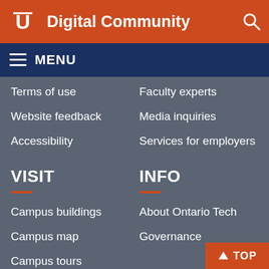Digital Community
MENU
Terms of use
Faculty experts
Website feedback
Media inquiries
Accessibility
Services for employers
VISIT
INFO
Campus buildings
About Ontario Tech
Campus map
Governance
Campus tours
Campus virtual tour